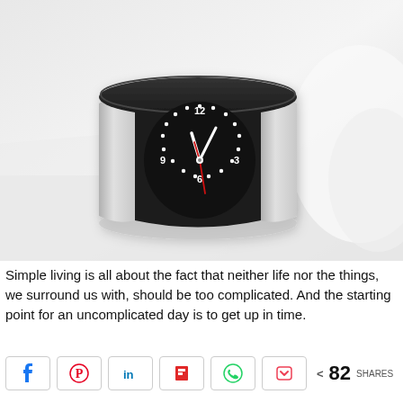[Figure (photo): A modern cylindrical alarm clock with a black face displaying clock hands and numbers 12, 3, 6, 9, with a dotted circle, silver metallic sides, resting on a white surface with soft light background]
Simple living is all about the fact that neither life nor the things, we surround us with, should be too complicated. And the starting point for an uncomplicated day is to get up in time.
[Figure (infographic): Social share bar with Facebook, Pinterest, LinkedIn, Flipboard, WhatsApp, Pocket buttons and share count of 82 SHARES]